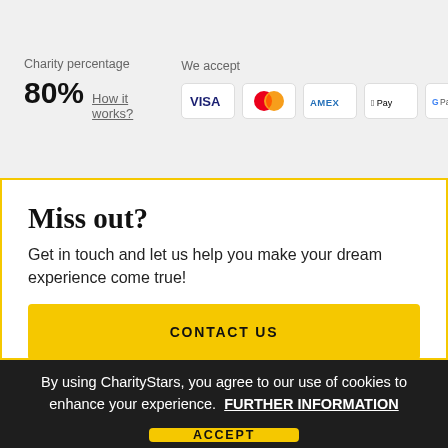Charity percentage
80%  How it works?
We accept
[Figure (other): Payment icons: VISA, Mastercard, AMEX, Apple Pay, Google Pay]
Miss out?
Get in touch and let us help you make your dream experience come true!
CONTACT US
By using CharityStars, you agree to our use of cookies to enhance your experience.  FURTHER INFORMATION
ACCEPT